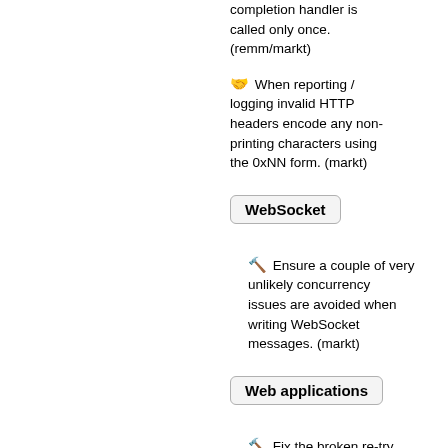completion handler is called only once. (remm/markt)
🤝 When reporting / logging invalid HTTP headers encode any non-printing characters using the 0xNN form. (markt)
WebSocket
🔨 Ensure a couple of very unlikely concurrency issues are avoided when writing WebSocket messages. (markt)
Web applications
🔨 Fix the broken re-try link on the error page for the FORM authentication